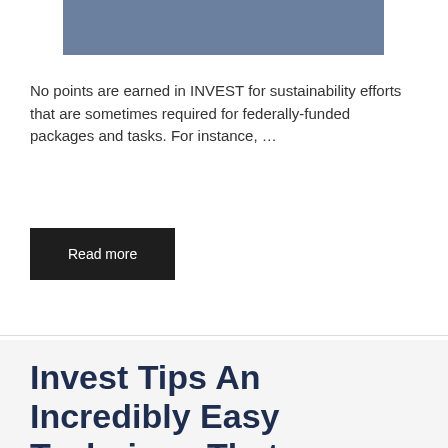[Figure (photo): A bluish-gray rectangular image at the top of the page, partially visible (cropped).]
No points are earned in INVEST for sustainability efforts that are sometimes required for federally-funded packages and tasks. For instance, …
Read more
Invest Tips An Incredibly Easy Technique That